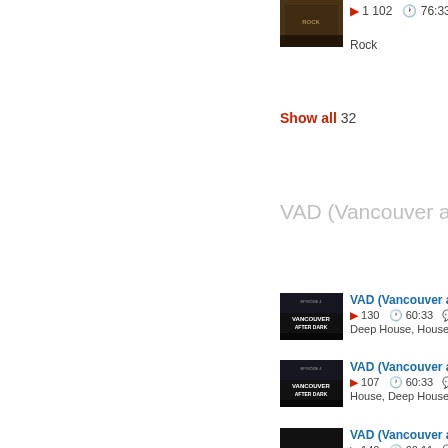[Figure (screenshot): Thumbnail image of a rock album/mix - brownish tones]
▶ 1 102  🕐 76:33  💬 1
Rock
Show all 32
VAD (Vancouver after da...
[Figure (screenshot): VAD (Vancouver After Dark) mix thumbnail - dark]
VAD (Vancouver after...
▶ 130  🕐 60:33  💬 4  P
Deep House, House
[Figure (screenshot): VAD (Vancouver After Dark) mix thumbnail - dark]
VAD (Vancouver after...
▶ 107  🕐 60:33  💬 2  P
House, Deep House
[Figure (screenshot): VAD (Vancouver After Dark) mix thumbnail - dark]
VAD (Vancouver after...
▶ 140  🕐 60:11  💬  PR
Afro House, Deep House
[Figure (screenshot): VAD (Vancouver After Dark) mix thumbnail - dark]
VAD (Vancouver after...
▶ 69  🕐 60:23  💬  PR
Tech House
[Figure (screenshot): VAD (Vancouver After Dark) mix thumbnail - dark]
VAD (Vancouver after...
▶ 41  🕐 60:17  💬  PR